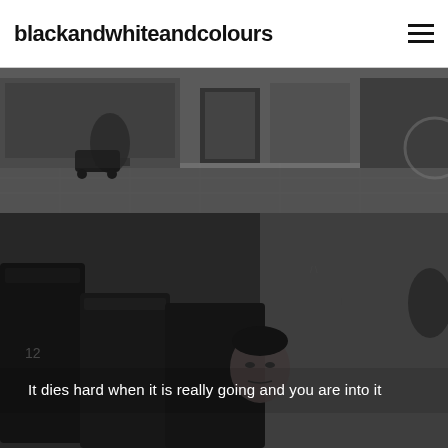blackandwhiteandcolours
[Figure (photo): Black and white street photograph showing a person with a pram/trolley on a cobblestone pavement, with shop fronts in the background.]
[Figure (photo): Black and white street photograph showing a man's face partially visible behind large wheeled bins/containers, with graffiti-marked walls behind. A white caption reads: It dies hard when it is really going and you are into it]
It dies hard when it is really going and you are into it